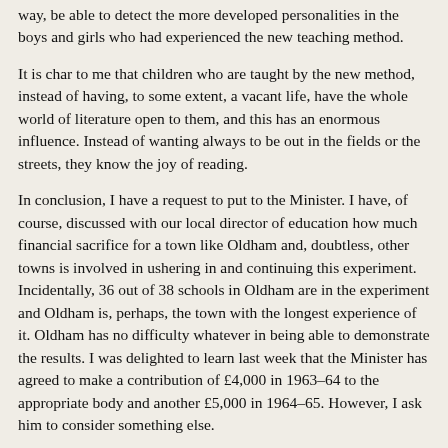way, be able to detect the more developed personalities in the boys and girls who had experienced the new teaching method.
It is char to me that children who are taught by the new method, instead of having, to some extent, a vacant life, have the whole world of literature open to them, and this has an enormous influence. Instead of wanting always to be out in the fields or the streets, they know the joy of reading.
In conclusion, I have a request to put to the Minister. I have, of course, discussed with our local director of education how much financial sacrifice for a town like Oldham and, doubtless, other towns is involved in ushering in and continuing this experiment. Incidentally, 36 out of 38 schools in Oldham are in the experiment and Oldham is, perhaps, the town with the longest experience of it. Oldham has no difficulty whatever in being able to demonstrate the results. I was delighted to learn last week that the Minister has agreed to make a contribution of £4,000 in 1963–64 to the appropriate body and another £5,000 in 1964–65. However, I ask him to consider something else.
This request is in no way an indication that the local education authority is any less enthusiastic about going through with the experiment. Oldham will go through with it in any event, because it knows that it is well rewarding to the boys and girls. Nevertheless, it is a fact that the average official allowance per infant per year for stationery and books